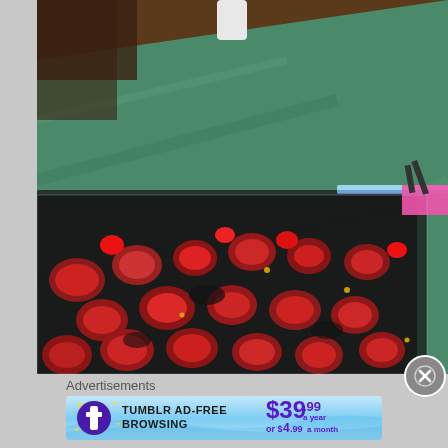[Figure (photo): Photo of raw marinated meat chunks in a clear ziplock bag on a green marble countertop, with a tray visible and pink label on the bag]
Advertisements
[Figure (photo): Tumblr Ad-Free Browsing advertisement banner: $39.99 a year or $4.99 a month, with Tumblr logo]